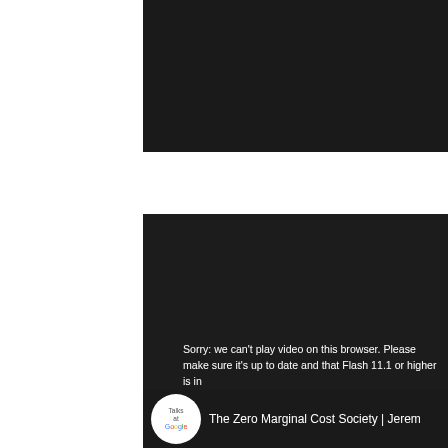[Figure (screenshot): Black video player block at top of page (cropped, partial view)]
Sorry: we can't play video on this browser. Please make sure it's up to date and that Flash 11.1 or higher is installed.
Load this talk on ted.com
[Figure (screenshot): Talks at Google video thumbnail showing 'The Zero Marginal Cost Society | Jeremy...' with Talks at Google logo and partial thumbnail image]